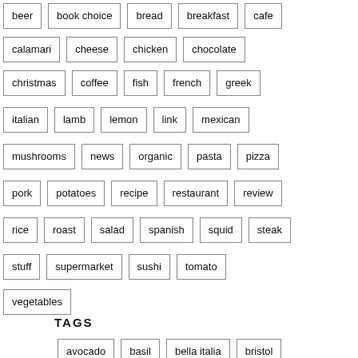beer
book choice
bread
breakfast
cafe
calamari
cheese
chicken
chocolate
christmas
coffee
fish
french
greek
italian
lamb
lemon
link
mexican
mushrooms
news
organic
pasta
pizza
pork
potatoes
recipe
restaurant
review
rice
roast
salad
spanish
squid
steak
stuff
supermarket
sushi
tomato
vegetables
TAGS
avocado
basil
bella italia
bristol